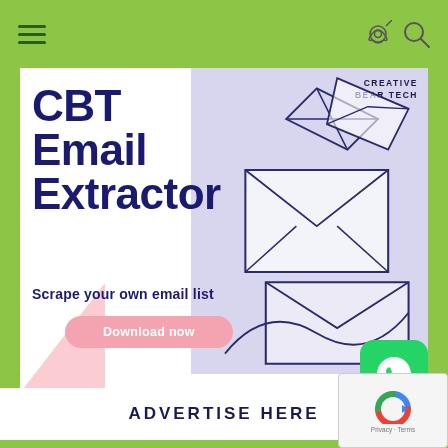[Figure (illustration): CBT Email Extractor advertisement banner. Shows bold dark blue text reading 'CBT Email Extractor' and 'Scrape your own email list' on the left, with a purple/lavender background on the right featuring illustrated envelope/paper plane line drawings. A pink pill-shaped button reads 'Download now'. Top right shows 'CREATIVE BEAR TECH' branding. Bottom left has a pink geometric accent shape. A WhatsApp green icon button appears in the bottom right corner.]
ADVERTISE HERE